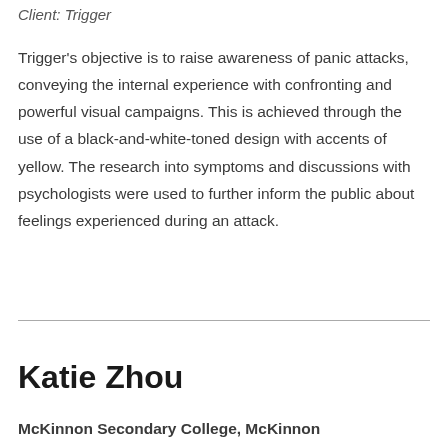Client: Trigger
Trigger's objective is to raise awareness of panic attacks, conveying the internal experience with confronting and powerful visual campaigns. This is achieved through the use of a black-and-white-toned design with accents of yellow. The research into symptoms and discussions with psychologists were used to further inform the public about feelings experienced during an attack.
Katie Zhou
McKinnon Secondary College, McKinnon